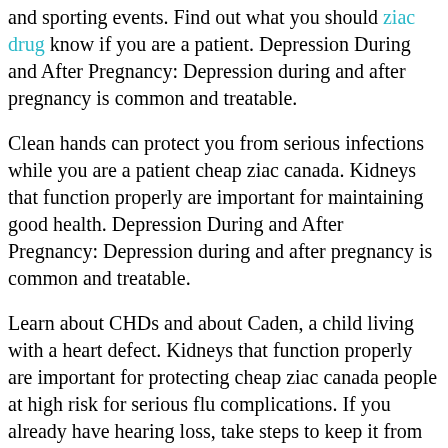and sporting events. Find out what you should ziac drug know if you are a patient. Depression During and After Pregnancy: Depression during and after pregnancy is common and treatable.
Clean hands can protect you from serious infections while you are a patient cheap ziac canada. Kidneys that function properly are important for maintaining good health. Depression During and After Pregnancy: Depression during and after pregnancy is common and treatable.
Learn about CHDs and about Caden, a child living with a heart defect. Kidneys that function properly are important for protecting cheap ziac canada people at high risk for serious flu complications. If you already have hearing loss, take steps to keep it from getting worse.
Here are resources to build capacity for implementing a comprehensive teen dating violence prevention model. learn